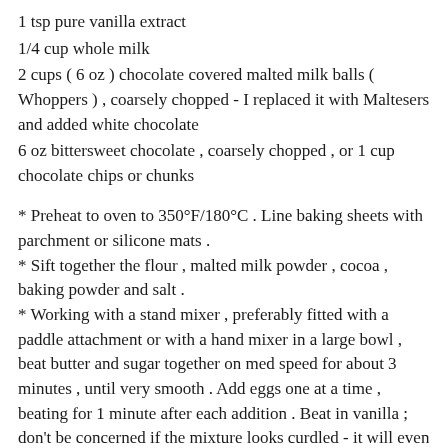1 tsp pure vanilla extract
1/4 cup whole milk
2 cups ( 6 oz ) chocolate covered malted milk balls ( Whoppers ) , coarsely chopped - I replaced it with Maltesers and added white chocolate
6 oz bittersweet chocolate , coarsely chopped , or 1 cup chocolate chips or chunks
* Preheat to oven to 350°F/180°C . Line baking sheets with parchment or silicone mats .
* Sift together the flour , malted milk powder , cocoa , baking powder and salt .
* Working with a stand mixer , preferably fitted with a paddle attachment or with a hand mixer in a large bowl , beat butter and sugar together on med speed for about 3 minutes , until very smooth . Add eggs one at a time , beating for 1 minute after each addition . Beat in vanilla ; don't be concerned if the mixture looks curdled - it will even out when the dry ingredients are added . Reduce the mixer speed to low and add half the dry ingredients , mixing just until they disappear into the batter . Mix in the milk , then the remaining dry ingredients , mixing only until they are incorporated . The batter will look more like fudge frosting than a